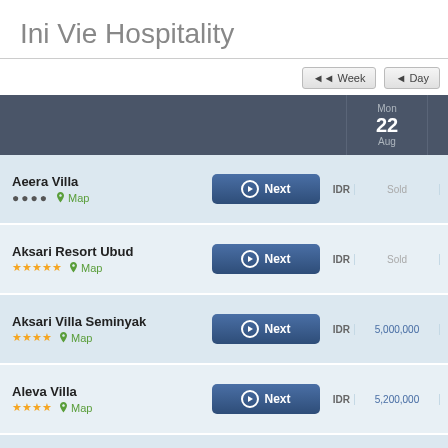Ini Vie Hospitality
| Property |  |  | IDR | Mon 22 Aug | Tue 23 Aug | Wed 24 Aug |
| --- | --- | --- | --- | --- | --- | --- |
| Aeera Villa •••• | Map | Next | IDR | Sold | 2,000,000 | 2,000,0… |
| Aksari Resort Ubud ★★★★★ | Map | Next | IDR | Sold | 9,100,000 | 5,700,0… |
| Aksari Villa Seminyak ★★★★ | Map | Next | IDR | 5,000,000 | Sold | Sold |
| Aleva Villa ★★★★ | Map | Next | IDR | 5,200,000 | 5,200,000 | 5,200,0… |
| Amarea Resort Ubud •••• | Map | Next | IDR | 2,000,000 | 2,400,000 | 2,000,0… |
| Astera Villa Canggu | Map | Next | IDR |  |  |  |